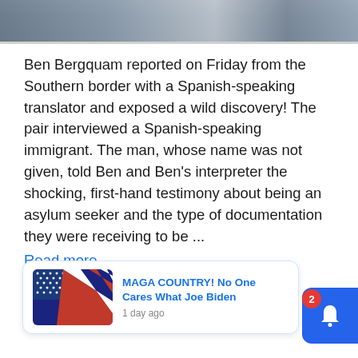[Figure (photo): Partial cropped photo showing people, cut off at top of page]
Ben Bergquam reported on Friday from the Southern border with a Spanish-speaking translator and exposed a wild discovery! The pair interviewed a Spanish-speaking immigrant. The man, whose name was not given, told Ben and Ben’s interpreter the shocking, first-hand testimony about being an asylum seeker and the type of documentation they were receiving to be ...
Read more
[Figure (screenshot): Notification card with American flag thumbnail image, blue title text 'MAGA COUNTRY! No One Cares What Joe Biden', timestamp '1 day ago', with close X button and blue bell notification button with badge showing 2]